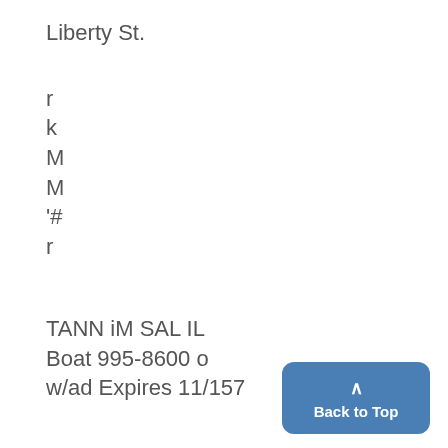Liberty St.
r
k
M
M
'#
r
TANN iM SAL IL
Boat 995-8600 o
w/ad Expires 11/157
Larry's Bike & Mower Shop